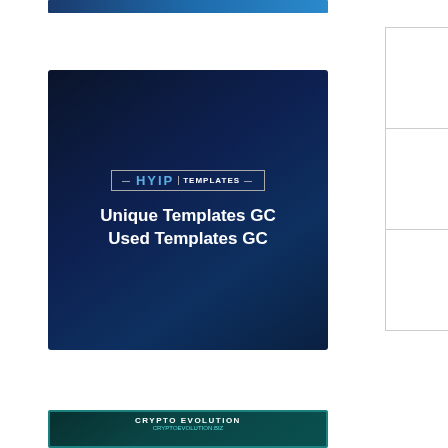[Figure (illustration): Top blue gradient banner ad (partially visible at top of sidebar)]
[Figure (illustration): HYIP Templates ad banner with dark blue background reading 'Unique Templates GC Used Templates GC']
[Figure (illustration): Crypto Evolution ad banner (teal/dark background) showing 120% after 1 day, 180% after 4 days, 300% after 9 days]
Seasonal discounts on advertising up to 50%.
May 10, 2019
| NUMBER OF INVESTORS | NU... D... |
| --- | --- |
| 170 |  |
| MINIMAL DEPOSIT | M... D... |
| $10 | $... |
| AVERAGE DEPOSIT | NUM. PER... |
| $160 |  |